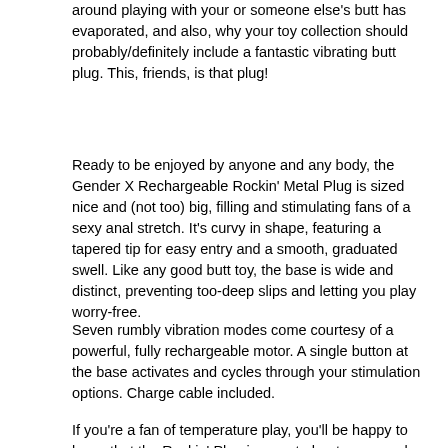around playing with your or someone else's butt has evaporated, and also, why your toy collection should probably/definitely include a fantastic vibrating butt plug. This, friends, is that plug!
Ready to be enjoyed by anyone and any body, the Gender X Rechargeable Rockin' Metal Plug is sized nice and (not too) big, filling and stimulating fans of a sexy anal stretch. It's curvy in shape, featuring a tapered tip for easy entry and a smooth, graduated swell. Like any good butt toy, the base is wide and distinct, preventing too-deep slips and letting you play worry-free.
Seven rumbly vibration modes come courtesy of a powerful, fully rechargeable motor. A single button at the base activates and cycles through your stimulation options. Charge cable included.
If you're a fan of temperature play, you'll be happy to know that the Rockin' Plug is easy to heat up or cool down beforehand - just pop it in the fridge or let it relax in some